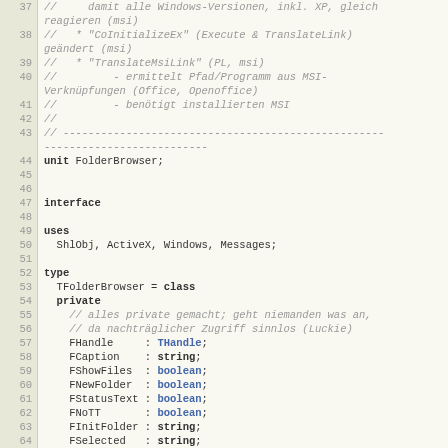[Figure (screenshot): Source code listing in Pascal/Delphi showing lines 37-65 of a FolderBrowser unit, with line numbers in a gutter on the left side. Comments are in italic gray, keywords in bold, type identifiers in blue.]